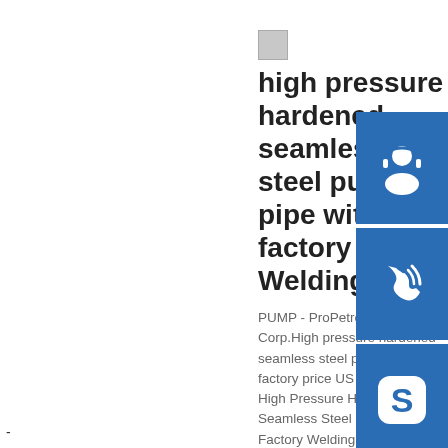high pressure hardened seamless steel pump pipe with factory Welding
PUMP - ProPetro Holding Corp.High pressure hardened seamless steel pump factory price US $29.00 / Piece High Pressure Hardened Seamless Steel Pump Pipe With Factory Welding - Image Resultsconcrete pump tube seamless pipe
[Figure (infographic): Three blue sidebar buttons: customer service icon (headset), phone icon (ringing handset), and Skype icon (S logo)]